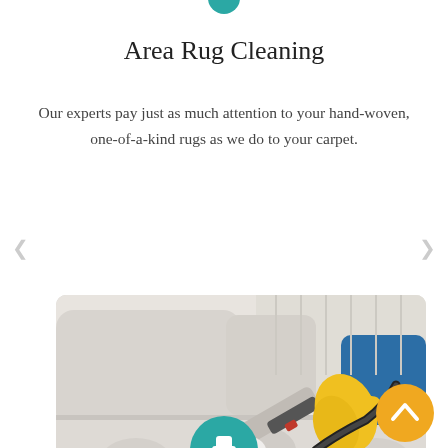[Figure (illustration): Teal circular icon, partially visible at top of page]
Area Rug Cleaning
Our experts pay just as much attention to your hand-woven, one-of-a-kind rugs as we do to your carpet.
[Figure (photo): A person wearing yellow rubber gloves and blue uniform using a steam cleaning tool on a light beige upholstered sofa]
[Figure (illustration): Teal circular icon, partially visible at bottom of page]